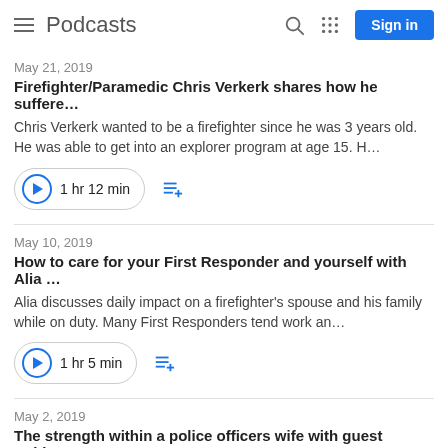Podcasts
May 21, 2019
Firefighter/Paramedic Chris Verkerk shares how he suffere…
Chris Verkerk wanted to be a firefighter since he was 3 years old. He was able to get into an explorer program at age 15. H…
1 hr 12 min
May 10, 2019
How to care for your First Responder and yourself with Alia …
Alia discusses daily impact on a firefighter's spouse and his family while on duty. Many First Responders tend work an…
1 hr 5 min
May 2, 2019
The strength within a police officers wife with guest Ashley…
As you can imagine, it takes a great deal of strength to be a police officers wife and have a incredible marriage. Ashley me